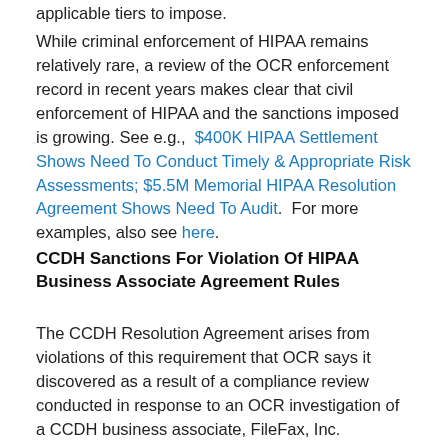applicable tiers to impose.
While criminal enforcement of HIPAA remains relatively rare, a review of the OCR enforcement record in recent years makes clear that civil enforcement of HIPAA and the sanctions imposed is growing. See e.g.,  $400K HIPAA Settlement Shows Need To Conduct Timely & Appropriate Risk Assessments; $5.5M Memorial HIPAA Resolution Agreement Shows Need To Audit.  For more examples, also see here.
CCDH Sanctions For Violation Of HIPAA Business Associate Agreement Rules
The CCDH Resolution Agreement arises from violations of this requirement that OCR says it discovered as a result of a compliance review conducted in response to an OCR investigation of a CCDH business associate, FileFax, Inc.